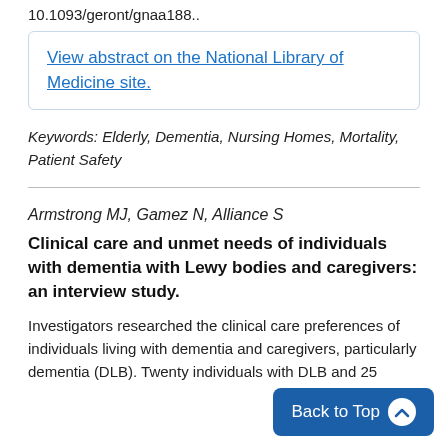10.1093/geront/gnaa188..
View abstract on the National Library of Medicine site.
Keywords: Elderly, Dementia, Nursing Homes, Mortality, Patient Safety
Armstrong MJ, Gamez N, Alliance S
Clinical care and unmet needs of individuals with dementia with Lewy bodies and caregivers: an interview study.
Investigators researched the clinical care preferences of individuals living with dementia and caregivers, particularly dementia (DLB). Twenty individuals with DLB and 25